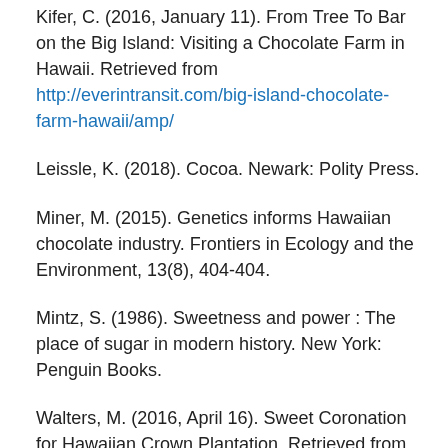Kifer, C. (2016, January 11). From Tree To Bar on the Big Island: Visiting a Chocolate Farm in Hawaii. Retrieved from http://everintransit.com/big-island-chocolate-farm-hawaii/amp/
Leissle, K. (2018). Cocoa. Newark: Polity Press.
Miner, M. (2015). Genetics informs Hawaiian chocolate industry. Frontiers in Ecology and the Environment, 13(8), 404-404.
Mintz, S. (1986). Sweetness and power : The place of sugar in modern history. New York: Penguin Books.
Walters, M. (2016, April 16). Sweet Coronation for Hawaiian Crown Plantation. Retrieved from http://bigislandnow.com/2016/04/16/sweet-coronation-for-